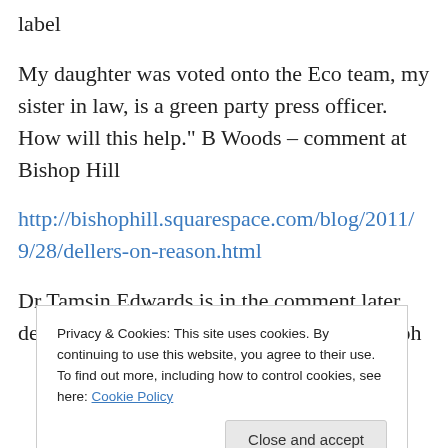label
My daughter was voted onto the Eco team, my sister in law, is a green party press officer. How will this help." B Woods – comment at Bishop Hill
http://bishophill.squarespace.com/blog/2011/9/28/dellers-on-reason.html
Dr Tamsin Edwards is in the comment later, describing how she used to use denier, in a oh
Privacy & Cookies: This site uses cookies. By continuing to use this website, you agree to their use.
To find out more, including how to control cookies, see here: Cookie Policy
Close and accept